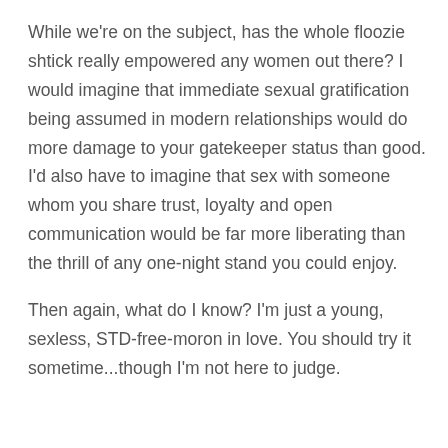While we're on the subject, has the whole floozie shtick really empowered any women out there? I would imagine that immediate sexual gratification being assumed in modern relationships would do more damage to your gatekeeper status than good. I'd also have to imagine that sex with someone whom you share trust, loyalty and open communication would be far more liberating than the thrill of any one-night stand you could enjoy.
Then again, what do I know? I'm just a young, sexless, STD-free-moron in love. You should try it sometime...though I'm not here to judge.